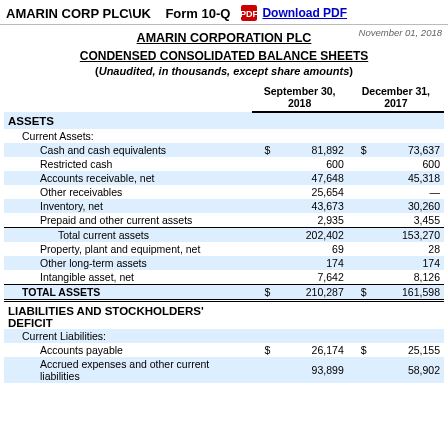AMARIN CORP PLC\UK   Form 10-Q   Download PDF
AMARIN CORPORATION PLC
CONDENSED CONSOLIDATED BALANCE SHEETS
(Unaudited, in thousands, except share amounts)
|  | September 30, 2018 |  | December 31, 2017 |  |
| --- | --- | --- | --- | --- |
| ASSETS |  |  |  |  |
| Current Assets: |  |  |  |  |
| Cash and cash equivalents | $ | 81,892 | $ | 73,637 |
| Restricted cash |  | 600 |  | 600 |
| Accounts receivable, net |  | 47,648 |  | 45,318 |
| Other receivables |  | 25,654 |  | — |
| Inventory, net |  | 43,673 |  | 30,260 |
| Prepaid and other current assets |  | 2,935 |  | 3,455 |
| Total current assets |  | 202,402 |  | 153,270 |
| Property, plant and equipment, net |  | 69 |  | 28 |
| Other long-term assets |  | 174 |  | 174 |
| Intangible asset, net |  | 7,642 |  | 8,126 |
| TOTAL ASSETS | $ | 210,287 | $ | 161,598 |
| LIABILITIES AND STOCKHOLDERS' DEFICIT |  |  |  |  |
| Current Liabilities: |  |  |  |  |
| Accounts payable | $ | 26,174 | $ | 25,155 |
| Accrued expenses and other current liabilities |  | 93,899 |  | 58,902 |